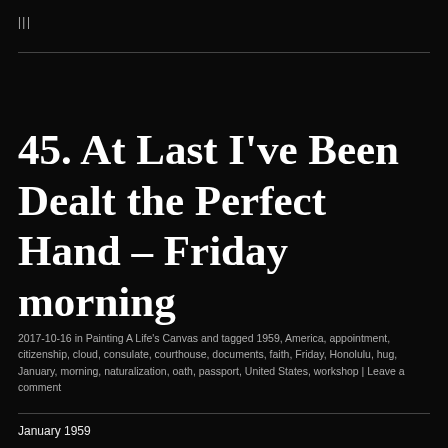|||
45. At Last I've Been Dealt the Perfect Hand – Friday morning
2017-10-16 in Painting A Life's Canvas and tagged 1959, America, appointment, citizenship, cloud, consulate, courthouse, documents, faith, Friday, Honolulu, hug, January, morning, naturalization, oath, passport, United States, workshop | Leave a comment
January 1959
Friday morning at last and yes, go to work.  It would only be for an hour and a half and I absolutely wouldn't be late for my 10a oath swearing!  This time I had